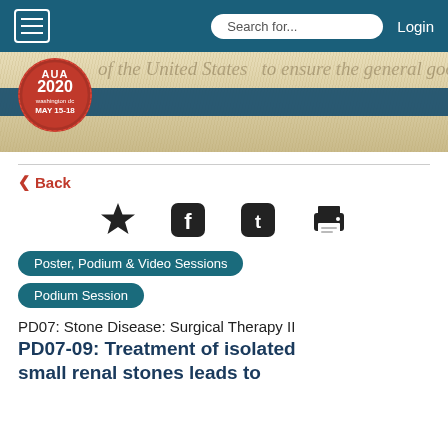Navigation bar with hamburger menu, search field, and Login
[Figure (illustration): AUA 2020 conference banner with red wax seal logo showing 'AUA 2020 washington dc MAY 15-18', dark navy stripe across middle, and parchment/script background]
Back
[Figure (infographic): Social sharing icons: star/bookmark, Facebook, Twitter, print]
Poster, Podium & Video Sessions
Podium Session
PD07: Stone Disease: Surgical Therapy II
PD07-09: Treatment of isolated small renal stones leads to